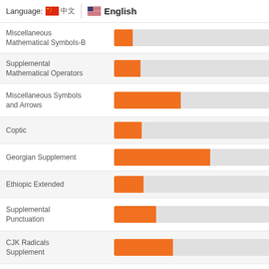Language: 🇨🇳 中文 | 🇺🇸 English
[Figure (bar-chart): Unicode Block Coverage]